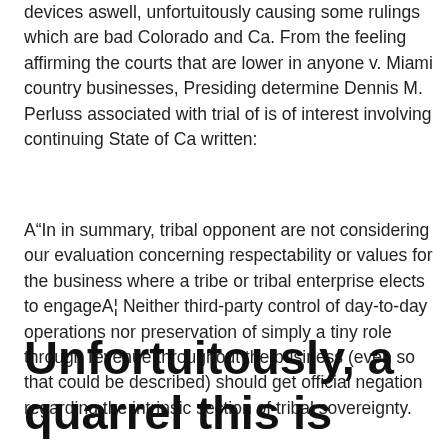devices aswell, unfortuitously causing some rulings which are bad Colorado and Ca. From the feeling affirming the courts that are lower in anyone v. Miami country businesses, Presiding determine Dennis M. Perluss associated with trial of is of interest involving continuing State of Ca written:
A“In in summary, tribal opponent are not considering our evaluation concerning respectability or values for the business where a tribe or tribal enterprise elects to engageA¦ Neither third-party control of day-to-day operations nor preservation of simply a tiny role through revenue throughout the business (even so that could be described) should get official negation regarding the intrinsic section of tribal sovereignty.
Unfortuitously, a quarrel this is actually created this is really comparable her status